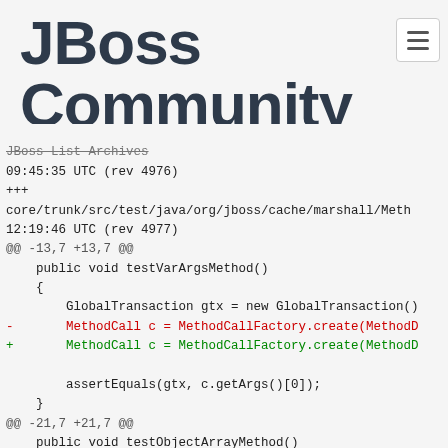JBoss Community
JBoss List Archives
09:45:35 UTC (rev 4976)
+++
core/trunk/src/test/java/org/jboss/cache/marshall/Meth
12:19:46 UTC (rev 4977)
@@ -13,7 +13,7 @@
    public void testVarArgsMethod()
    {
        GlobalTransaction gtx = new GlobalTransaction()
-       MethodCall c = MethodCallFactory.create(MethodD
+       MethodCall c = MethodCallFactory.create(MethodD

        assertEquals(gtx, c.getArgs()[0]);
    }
@@ -21,7 +21,7 @@
    public void testObjectArrayMethod()
    {
        GlobalTransaction gtx = new GlobalTransaction()